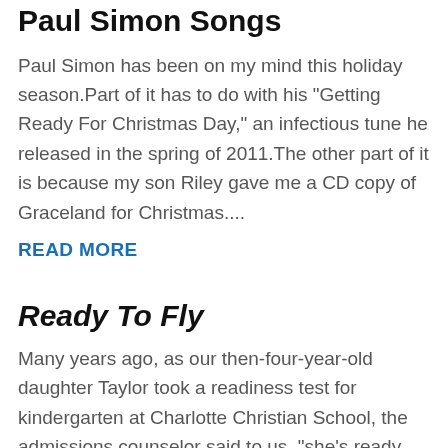Paul Simon Songs
Paul Simon has been on my mind this holiday season.Part of it has to do with his "Getting Ready For Christmas Day," an infectious tune he released in the spring of 2011.The other part of it is because my son Riley gave me a CD copy of Graceland for Christmas....
READ MORE
Ready To Fly
Many years ago, as our then-four-year-old daughter Taylor took a readiness test for kindergarten at Charlotte Christian School, the admissions counselor said to us, "she's ready